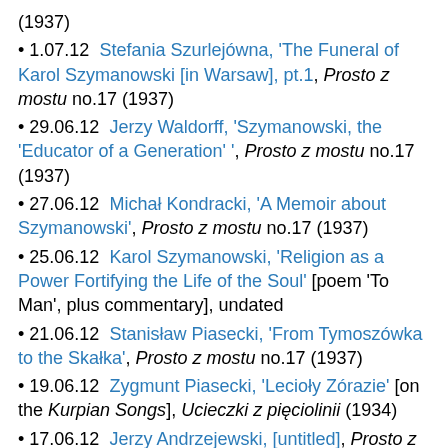(1937)
1.07.12  Stefania Szurlejówna, 'The Funeral of Karol Szymanowski [in Warsaw], pt.1, Prosto z mostu no.17 (1937)
29.06.12  Jerzy Waldorff, 'Szymanowski, the 'Educator of a Generation' ', Prosto z mostu no.17 (1937)
27.06.12  Michał Kondracki, 'A Memoir about Szymanowski', Prosto z mostu no.17 (1937)
25.06.12  Karol Szymanowski, 'Religion as a Power Fortifying the Life of the Soul' [poem 'To Man', plus commentary], undated
21.06.12  Stanisław Piasecki, 'From Tymoszówka to the Skałka', Prosto z mostu no.17 (1937)
19.06.12  Zygmunt Piasecki, 'Lecioły Zórazie' [on the Kurpian Songs], Ucieczki z pięciolinii (1934)
17.06.12  Jerzy Andrzejewski, [untitled], Prosto z mostu